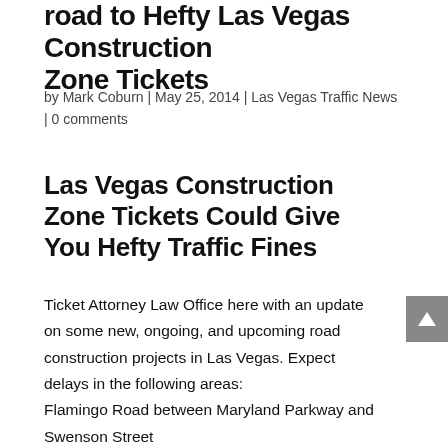road to Hefty Las Vegas Construction Zone Tickets
by Mark Coburn | May 25, 2014 | Las Vegas Traffic News | 0 comments
Las Vegas Construction Zone Tickets Could Give You Hefty Traffic Fines
Ticket Attorney Law Office here with an update on some new, ongoing, and upcoming road construction projects in Las Vegas. Expect delays in the following areas:
Flamingo Road between Maryland Parkway and Swenson Street
Sahara Avenue Bridge over the Desert Rose Golf Course: currently closed until Sept.